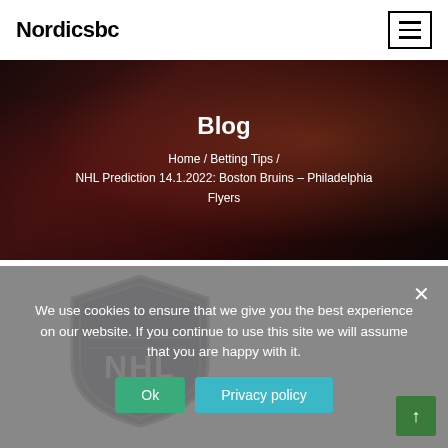Nordicsbc
Blog
Home / Betting Tips / NHL Prediction 14.1.2022: Boston Bruins – Philadelphia Flyers
[Figure (logo): NHL shield logo in dark grey/black tones]
We use cookies to ensure that we give you the best experience on our website. If you continue to use this site we will assume that you are happy with it.
Ok    Privacy policy